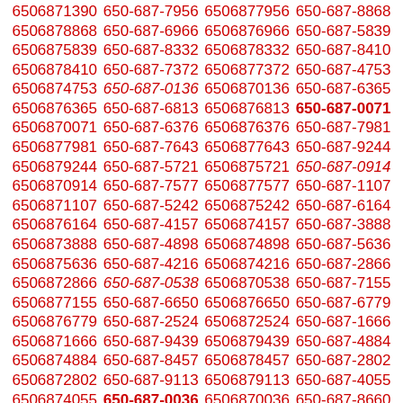6506871390 650-687-7956 6506877956 650-687-8868 6506878868 650-687-6966 6506876966 650-687-5839 6506875839 650-687-8332 6506878332 650-687-8410 6506878410 650-687-7372 6506877372 650-687-4753 6506874753 650-687-0136 6506870136 650-687-6365 6506876365 650-687-6813 6506876813 650-687-0071 6506870071 650-687-6376 6506876376 650-687-7981 6506877981 650-687-7643 6506877643 650-687-9244 6506879244 650-687-5721 6506875721 650-687-0914 6506870914 650-687-7577 6506877577 650-687-1107 6506871107 650-687-5242 6506875242 650-687-6164 6506876164 650-687-4157 6506874157 650-687-3888 6506873888 650-687-4898 6506874898 650-687-5636 6506875636 650-687-4216 6506874216 650-687-2866 6506872866 650-687-0538 6506870538 650-687-7155 6506877155 650-687-6650 6506876650 650-687-6779 6506876779 650-687-2524 6506872524 650-687-1666 6506871666 650-687-9439 6506879439 650-687-4884 6506874884 650-687-8457 6506878457 650-687-2802 6506872802 650-687-9113 6506879113 650-687-4055 6506874055 650-687-0036 6506870036 650-687-8660 6506878660 650-687-3506 6506873506 650-687-9318 6506879318 650-687-5716 6506875716 650-687-6441 6506876441 650-687-5435 6506875435 650-687-2652 6506872652 650-687-0328 6506870328 650-687-1145